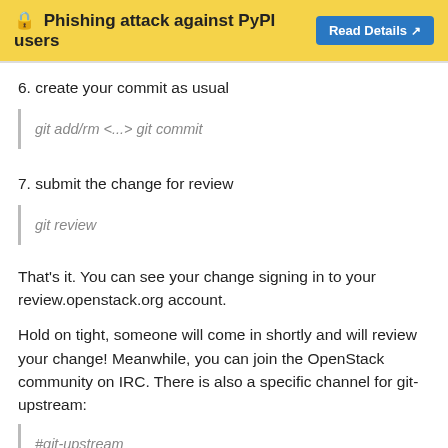🔒 Phishing attack against PyPI users  Read Details ↗
6. create your commit as usual
git add/rm <...> git commit
7. submit the change for review
git review
That's it. You can see your change signing in to your review.openstack.org account.
Hold on tight, someone will come in shortly and will review your change! Meanwhile, you can join the OpenStack community on IRC. There is also a specific channel for git-upstream:
#git-upstream